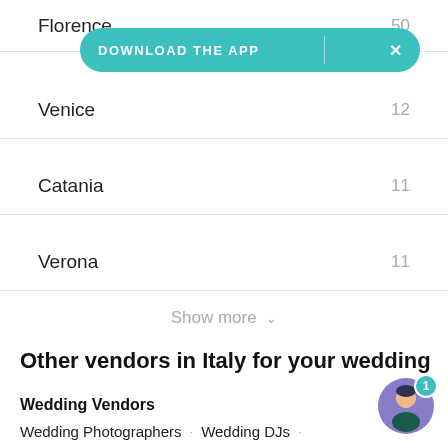Florence  50
[Figure (other): DOWNLOAD THE APP banner with teal background and X close button]
Venice  12
Catania  11
Verona  11
Show more
Other vendors in Italy for your wedding
Wedding Vendors
Wedding Photographers · Wedding DJs ·
Wedding Hair & Makeup · Wedding Caterers ·
Wedding Florists · Wedding Videographers ·
Wedding Officiants · Wedding Rentals · Photo Booths